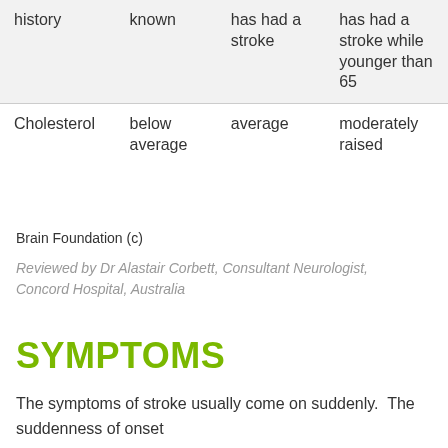|  |  | has had a stroke | has had a stroke while younger than 65 |
| --- | --- | --- | --- |
| history | known | has had a stroke | has had a stroke while younger than 65 |
| Cholesterol | below average | average | moderately raised |
Brain Foundation (c)
Reviewed by Dr Alastair Corbett, Consultant Neurologist, Concord Hospital, Australia
SYMPTOMS
The symptoms of stroke usually come on suddenly.  The suddenness of onset